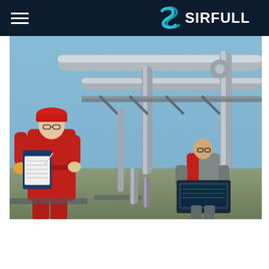SIRFULL
[Figure (photo): Two workers in red safety overalls and hard hats inspecting industrial pipeline infrastructure. The foreground worker wears a red hard hat and holds a clipboard with a pen. The background worker uses a laptop. Large silver pipes and metal framework are visible against a blue sky.]